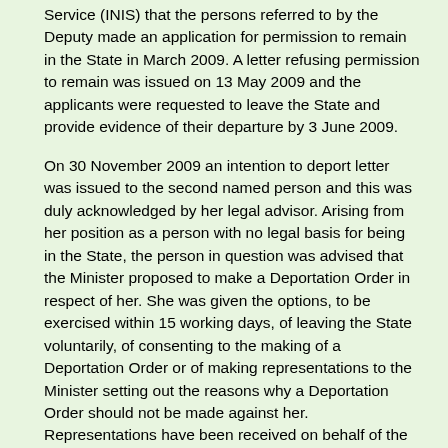Service (INIS) that the persons referred to by the Deputy made an application for permission to remain in the State in March 2009. A letter refusing permission to remain was issued on 13 May 2009 and the applicants were requested to leave the State and provide evidence of their departure by 3 June 2009.
On 30 November 2009 an intention to deport letter was issued to the second named person and this was duly acknowledged by her legal advisor. Arising from her position as a person with no legal basis for being in the State, the person in question was advised that the Minister proposed to make a Deportation Order in respect of her. She was given the options, to be exercised within 15 working days, of leaving the State voluntarily, of consenting to the making of a Deportation Order or of making representations to the Minister setting out the reasons why a Deportation Order should not be made against her. Representations have been received on behalf of the person concerned. The position in the State of the person concerned will now be decided by reference to the provisions of Section 3 (6) of the Immigration Act 1999 (as amended) and Section 5 of the Refugee Act 1996 (as amended) on the prohibition of refoulement. All representations submitted will be considered before the file is passed to me for decision. Once a decision has been made, this decision and the consequences of the decision will be conveyed in writing to the person concerned.
The Irish Naturalisation and Immigration Service will contact the first-